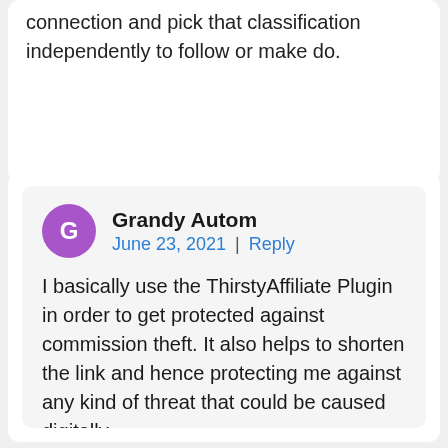connection and pick that classification independently to follow or make do.
Grandy Autom
June 23, 2021 | Reply
I basically use the ThirstyAffiliate Plugin in order to get protected against commission theft. It also helps to shorten the link and hence protecting me against any kind of threat that could be caused digitally.
This tool also helps to track the